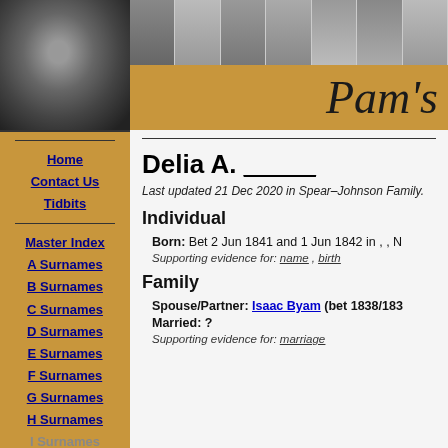[Figure (photo): Website header banner with a main portrait photo on the left (black and white photo of a person with long hair) and a strip of smaller black and white portrait photos across the top right. Tan/gold background. Text reads Pam's in cursive italic.]
Pam's
Home
Contact Us
Tidbits
Master Index
A Surnames
B Surnames
C Surnames
D Surnames
E Surnames
F Surnames
G Surnames
H Surnames
I Surnames
J Surnames
K Surnames
Delia A. _____
Last updated 21 Dec 2020 in Spear–Johnson Family.
Individual
Born: Bet 2 Jun 1841 and 1 Jun 1842 in , , N
Supporting evidence for: name , birth
Family
Spouse/Partner: Isaac Byam (bet 1838/183
Married: ?
Supporting evidence for: marriage